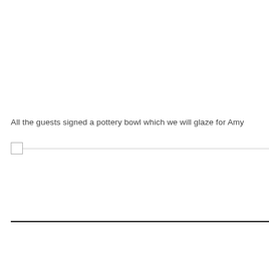All the guests signed a pottery bowl which we will glaze for Amy
[Figure (other): A checkbox followed by a horizontal line extending to the right edge of the page]